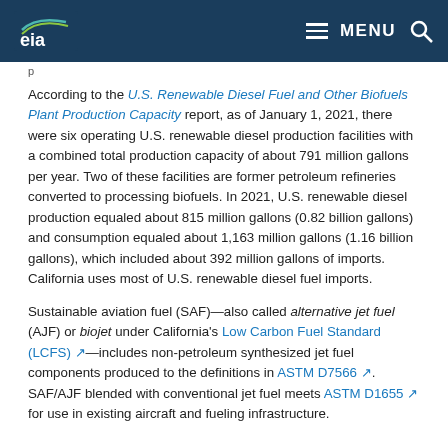EIA — Menu / Search header
According to the U.S. Renewable Diesel Fuel and Other Biofuels Plant Production Capacity report, as of January 1, 2021, there were six operating U.S. renewable diesel production facilities with a combined total production capacity of about 791 million gallons per year. Two of these facilities are former petroleum refineries converted to processing biofuels. In 2021, U.S. renewable diesel production equaled about 815 million gallons (0.82 billion gallons) and consumption equaled about 1,163 million gallons (1.16 billion gallons), which included about 392 million gallons of imports. California uses most of U.S. renewable diesel fuel imports.
Sustainable aviation fuel (SAF)—also called alternative jet fuel (AJF) or biojet under California's Low Carbon Fuel Standard (LCFS)—includes non-petroleum synthesized jet fuel components produced to the definitions in ASTM D7566. SAF/AJF blended with conventional jet fuel meets ASTM D1655 for use in existing aircraft and fueling infrastructure.